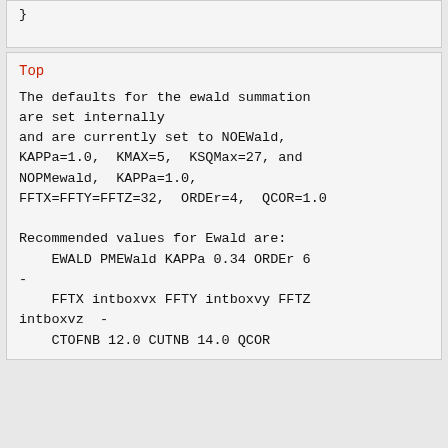}
Top
The defaults for the ewald summation are set internally
and are currently set to NOEWald,
KAPPa=1.0, KMAX=5, KSQMax=27, and
NOPMewald, KAPPa=1.0,
FFTX=FFTY=FFTZ=32, ORDEr=4, QCOR=1.0

Recommended values for Ewald are:
    EWALD PMEWald KAPPa 0.34 ORDEr 6
-
    FFTX intboxvx FFTY intboxvy FFTZ
intboxvz  -
    CTOFNB 12.0 CUTNB 14.0 QCOR